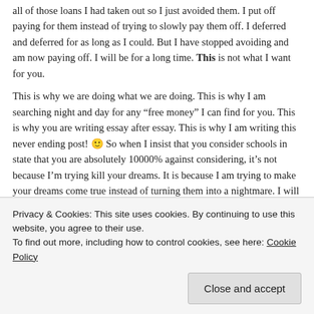all of those loans I had taken out so I just avoided them. I put off paying for them instead of trying to slowly pay them off. I deferred and deferred for as long as I could. But I have stopped avoiding and am now paying off. I will be for a long time. This is not what I want for you.
This is why we are doing what we are doing. This is why I am searching night and day for any "free money" I can find for you. This is why you are writing essay after essay. This is why I am writing this never ending post! 🙂 So when I insist that you consider schools in state that you are absolutely 10000% against considering, it's not because I'm trying kill your dreams. It is because I am trying to make your dreams come true instead of turning them into a nightmare. I will do everything I can to get you to where you want to go. But, in the end, my ultimate goal is that you attend the best school possible combined with the least amount of debt. I want you to finish school and have no regrets and not have any debt. I even want you to enjoy some parties, just not too many! So if you
Privacy & Cookies: This site uses cookies. By continuing to use this website, you agree to their use.
To find out more, including how to control cookies, see here: Cookie Policy
Close and accept